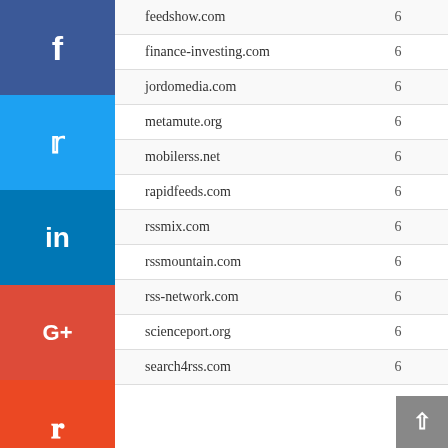| # | Domain | Count |
| --- | --- | --- |
| 18 | feedshow.com | 6 |
| 19 | finance-investing.com | 6 |
|  | jordomedia.com | 6 |
|  | metamute.org | 6 |
|  | mobilerss.net | 6 |
|  | rapidfeeds.com | 6 |
|  | rssmix.com | 6 |
|  | rssmountain.com | 6 |
|  | rss-network.com | 6 |
| 27 | scienceport.org | 6 |
| 28 | search4rss.com | 6 |